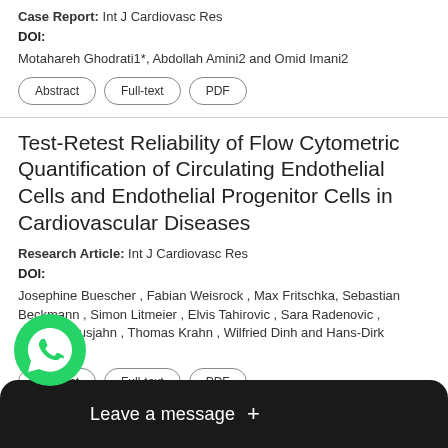Case Report: Int J Cardiovasc Res
DOI:
Motahareh Ghodrati1*, Abdollah Amini2 and Omid Imani2
Abstract
Full-text
PDF
Test-Retest Reliability of Flow Cytometric Quantification of Circulating Endothelial Cells and Endothelial Progenitor Cells in Cardiovascular Diseases
Research Article: Int J Cardiovasc Res
DOI:
Josephine Buescher , Fabian Weisrock , Max Fritschka, Sebastian Beckmann , Simon Litmeier , Elvis Tahirovic , Sara Radenovic , Andreas Busjahn , Thomas Krahn , Wilfried Dinh and Hans-Dirk Düengen
Abstract
Full-text
PDF
nary Disease (COPD)
Edito
DOI: